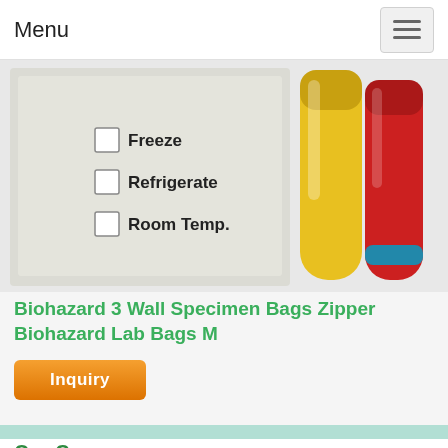Menu
[Figure (photo): Biohazard specimen bag with checkboxes for Freeze, Refrigerate, Room Temp. on the left; yellow and red laboratory test tubes on the right.]
Biohazard 3 Wall Specimen Bags Zipper Biohazard Lab Bags M
Inquiry
Our Company
Team
Plastic bags factory
Certification